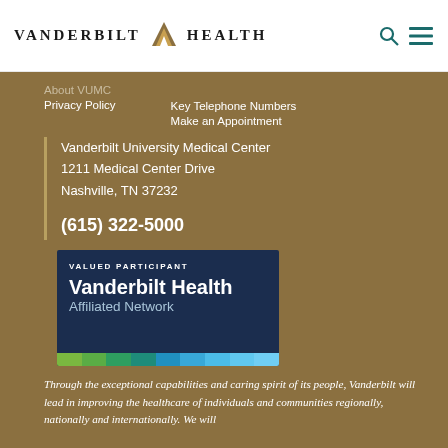VANDERBILT V HEALTH
About VUMC
Privacy Policy
Key Telephone Numbers
Make an Appointment
Vanderbilt University Medical Center
1211 Medical Center Drive
Nashville, TN 37232
(615) 322-5000
[Figure (logo): Vanderbilt Health Affiliated Network - Valued Participant badge on dark navy background with colorful bar at bottom]
Through the exceptional capabilities and caring spirit of its people, Vanderbilt will lead in improving the healthcare of individuals and communities regionally, nationally and internationally. We will